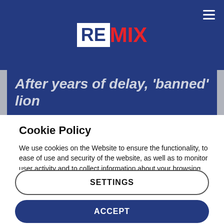REMIX
After years of delay, ‘banned’ lion
Cookie Policy
We use cookies on the Website to ensure the functionality, to ease of use and security of the website, as well as to monitor user activity and to collect information about your browsing habits in order to make advertising relevant to you and your interests.
Clicking on "Accept" you can allow all cookies. If you would like to reject or customize, please click on "Settings".
Read more: Cookie Policy
SETTINGS
ACCEPT